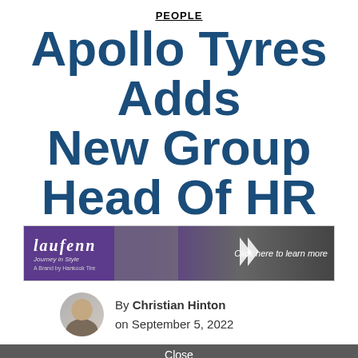PEOPLE
Apollo Tyres Adds New Group Head Of HR
[Figure (infographic): Laufenn tire brand advertisement banner with purple gradient background, logo, tagline 'Journey in Style', 'A Brand by Hankook Tire', tire image, and 'Click here to learn more' CTA]
By Christian Hinton on September 5, 2022
Close
[Figure (infographic): General Tire advertisement with dark background, red left panel with GT logo and 'GENERAL TIRE' text, arrow shape, and 'Grabber™ UHP - A long-lasting, all-season ultra-high performance tire for crossovers, light trucks and SUVs.']